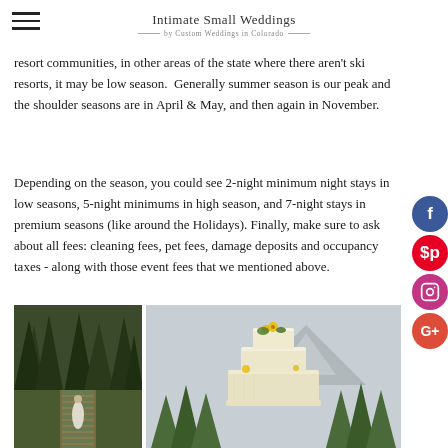Intimate Small Weddings
resort communities, in other areas of the state where there aren't ski resorts, it may be low season.  Generally summer season is our peak and the shoulder seasons are in April & May, and then again in November.
Depending on the season, you could see 2-night minimum night stays in low seasons, 5-night minimums in high season, and 7-night stays in premium seasons (like around the Holidays). Finally, make sure to ask about all fees: cleaning fees, pet fees, damage deposits and occupancy taxes - along with those event fees that we mentioned above.
[Figure (photo): A bride on a wooden bridge/walkway in a mountain forest setting]
[Figure (photo): A white tiered wedding cake with yellow flowers, with mountain pine trees and a snow-capped mountain in the background]